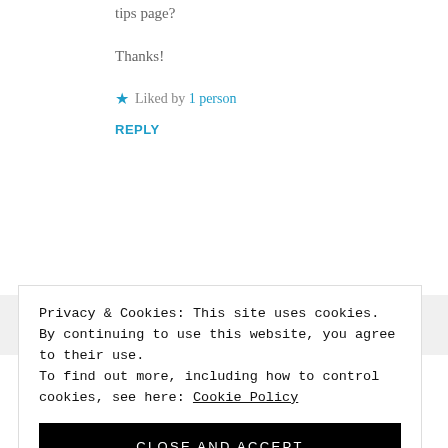tips page?
Thanks!
★ Liked by 1 person
REPLY
Privacy & Cookies: This site uses cookies. By continuing to use this website, you agree to their use. To find out more, including how to control cookies, see here: Cookie Policy
CLOSE AND ACCEPT